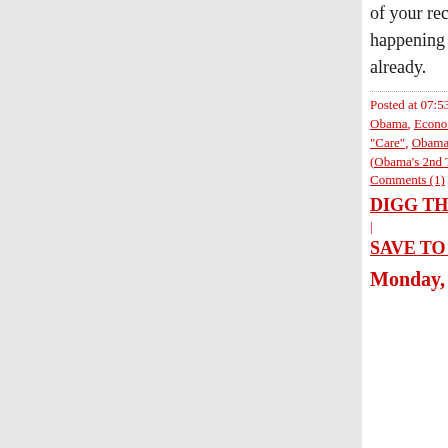of your receipt. It's been happening for a month already.
Posted at 07:53 PM in Barack Obama, Economy/Taxes, Health "Care", Obama's Revenge (Obama's 2nd Term) | Permalink | Comments (1) | TrackBack (0)
DIGG THIS
SAVE TO DEL.ICIO.
Monday,